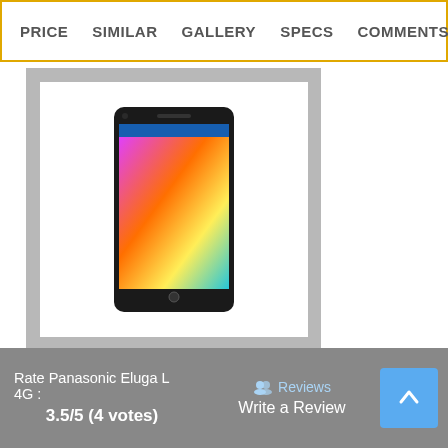PRICE  SIMILAR  GALLERY  SPECS  COMMENTS
[Figure (photo): Panasonic Eluga L 4G smartphone shown from the front with colorful abstract wallpaper on a dark handset, displayed inside a light gray box]
8 MP
5 inches
Android 4.4 (KitKat) OS
1.2 GHz Quad-Core 64-bit Qualcomm Snapdragon 410
Li-Po 2300 mAh Battery
Price: Rs. 5,990/-
Rate Panasonic Eluga L 4G : 3.5/5 (4 votes)
Reviews  Write a Review